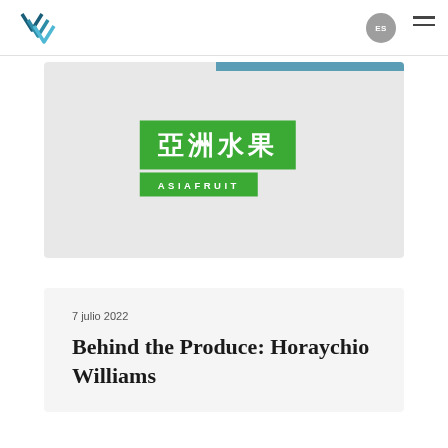[Figure (logo): V-shaped logo mark in teal/dark blue]
ES
[Figure (logo): Asiafruit logo with Chinese characters 亞洲水果 on green background and ASIAFRUIT text below]
7 julio 2022
Behind the Produce: Horaychio Williams